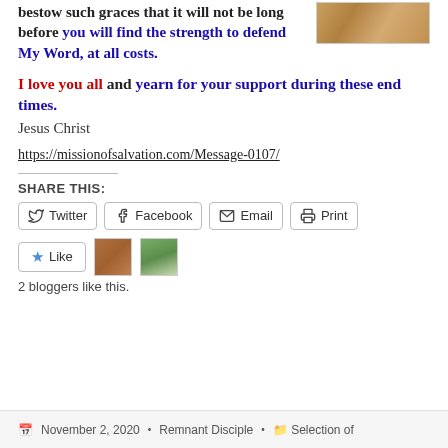bestow such graces that it will not be long before you will find the strength to defend My Word, at all costs.
[Figure (photo): Partial image of aged stone or parchment texture in upper right corner]
I love you all and yearn for your support during these end times.
Jesus Christ
https://missionofsalvation.com/Message-0107/
SHARE THIS:
Twitter  Facebook  Email  Print
Like
2 bloggers like this.
November 2, 2020  •  Remnant Disciple  •  Selection of